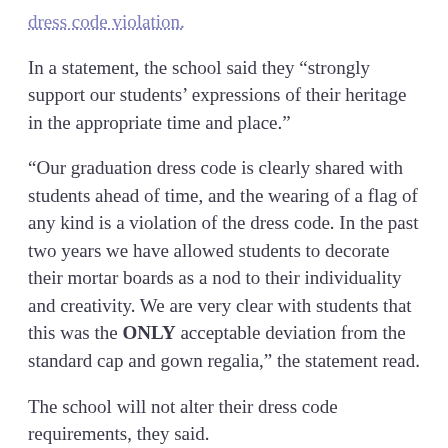dress code violation.
In a statement, the school said they “strongly support our students’ expressions of their heritage in the appropriate time and place.”
“Our graduation dress code is clearly shared with students ahead of time, and the wearing of a flag of any kind is a violation of the dress code. In the past two years we have allowed students to decorate their mortar boards as a nod to their individuality and creativity. We are very clear with students that this was the ONLY acceptable deviation from the standard cap and gown regalia,” the statement read.
The school will not alter their dress code requirements, they said.